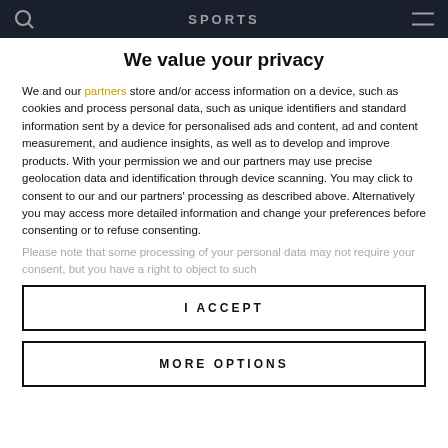SPORTS
We value your privacy
We and our partners store and/or access information on a device, such as cookies and process personal data, such as unique identifiers and standard information sent by a device for personalised ads and content, ad and content measurement, and audience insights, as well as to develop and improve products. With your permission we and our partners may use precise geolocation data and identification through device scanning. You may click to consent to our and our partners' processing as described above. Alternatively you may access more detailed information and change your preferences before consenting or to refuse consenting.
Please note that some processing of your personal data may not require your consent, but you have a right to object to such
I ACCEPT
MORE OPTIONS